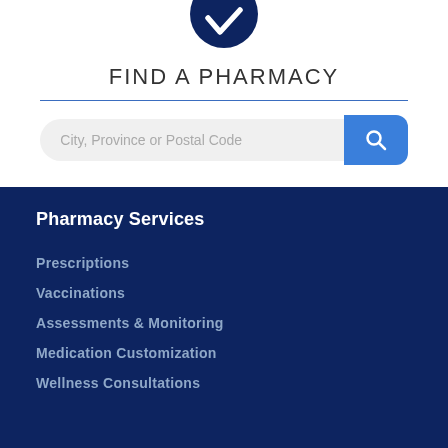[Figure (logo): Dark navy blue circle with a white checkmark/V shape at the bottom, partially cropped at top]
FIND A PHARMACY
[Figure (screenshot): Search bar with placeholder text 'City, Province or Postal Code' and a blue search button with magnifying glass icon]
Pharmacy Services
Prescriptions
Vaccinations
Assessments & Monitoring
Medication Customization
Wellness Consultations